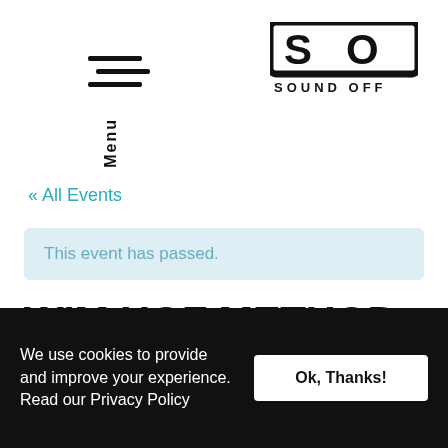[Figure (logo): Hamburger menu icon (three horizontal lines) with 'Menu' text rotated vertically below]
[Figure (logo): SO SOUND OFF logo — bold 'SO' lettermark above 'SOUND OFF' text with trademark symbol]
« All Events
This event has passed.
WIM HOF METHOD WORKSHOP WITH
We use cookies to provide and improve your experience. Read our Privacy Policy
Ok, Thanks!